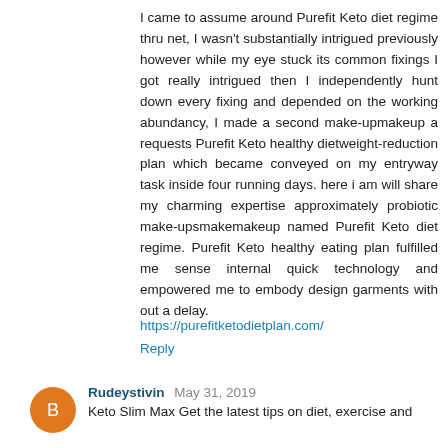I came to assume around Purefit Keto diet regime thru net, I wasn't substantially intrigued previously however while my eye stuck its common fixings I got really intrigued then I independently hunt down every fixing and depended on the working abundancy, I made a second make-upmakeup a requests Purefit Keto healthy dietweight-reduction plan which became conveyed on my entryway task inside four running days. here i am will share my charming expertise approximately probiotic make-upsmakemakeup named Purefit Keto diet regime. Purefit Keto healthy eating plan fulfilled me sense internal quick technology and empowered me to embody design garments with out a delay.
https://purefitketodietplan.com/
Reply
Rudeystivin May 31, 2019
Keto Slim Max Get the latest tips on diet, exercise and